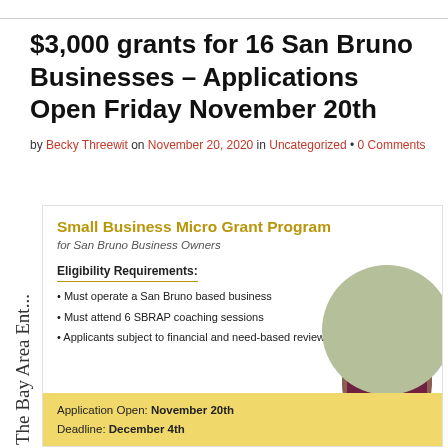$3,000 grants for 16 San Bruno Businesses – Applications Open Friday November 20th
by Becky Threewit on November 20, 2020 in Uncategorized • 0 Comments
[Figure (infographic): Small Business Micro Grant Program flyer for San Bruno Business Owners. Lists eligibility requirements: Must operate a San Bruno based business; Must attend 6 SBRAP coaching sessions; Applicants subject to financial and need-based review. Application Open: November 20th, Deadline: December 4th. Features photo of a smiling woman with blonde hair against a sage green circular background.]
The Bay Area Ent...